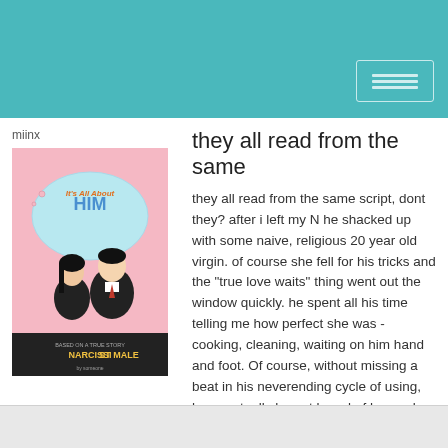miinx
[Figure (illustration): Book cover illustration for a book titled 'It's All About HIM' with subtitle text including 'NARCISSIST' visible at the bottom. Shows a vintage-style illustration of a man and woman.]
they all read from the same
they all read from the same script, dont they? after i left my N he shacked up with some naive, religious 20 year old virgin. of course she fell for his tricks and the "true love waits" thing went out the window quickly. he spent all his time telling me how perfect she was - cooking, cleaning, waiting on him hand and foot. Of course, without missing a beat in his neverending cycle of using, he eventually he got bored of her and the cheating began. too bad shes too young and inexperienced to know what shes gotten herself into. hes a thousand times worse now than he ever was with me. they only get worse as they get older.